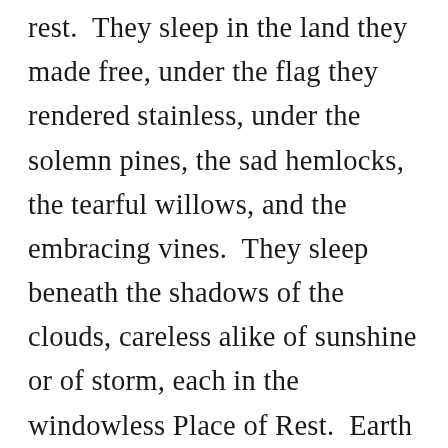rest.  They sleep in the land they made free, under the flag they rendered stainless, under the solemn pines, the sad hemlocks, the tearful willows, and the embracing vines.  They sleep beneath the shadows of the clouds, careless alike of sunshine or of storm, each in the windowless Place of Rest.  Earth may run red with other wars – they are at peace.  In the midst of battle, in the roar of conflict, they found the serenity of death.  I have one sentiment for soldiers living